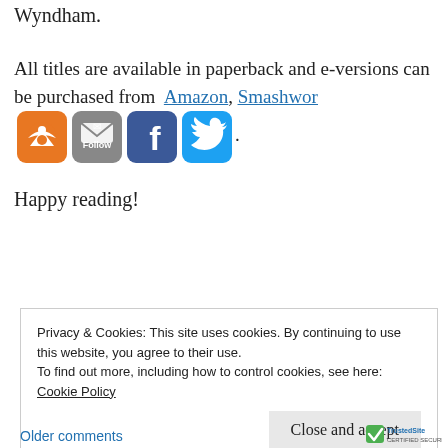Wyndham.
All titles are available in paperback and e-versions can be purchased from Amazon, Smashwords and others.
[Figure (illustration): Four social media/follow icons: RSS (orange), Follow/email (grey), Facebook (blue), Twitter (cyan blue)]
Happy reading!
Privacy & Cookies: This site uses cookies. By continuing to use this website, you agree to their use.
To find out more, including how to control cookies, see here:
Cookie Policy
Close and accept
Older comments
[Figure (logo): TrustedSite logo with green checkmark]